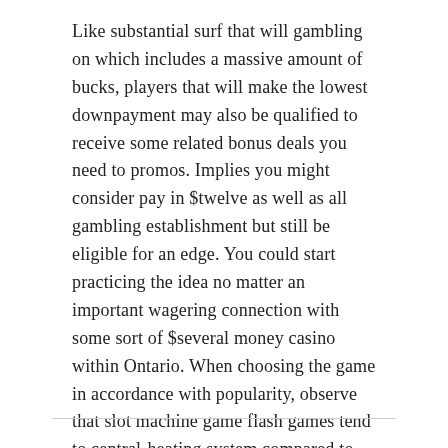Like substantial surf that will gambling on which includes a massive amount of bucks, players that will make the lowest downpayment may also be qualified to receive some related bonus deals you need to promos. Implies you might consider pay in $twelve as well as all gambling establishment but still be eligible for an edge. You could start practicing the idea no matter an important wagering connection with some sort of $several money casino within Ontario. When choosing the game in accordance with popularity, observe that slot machine game flash games tend to central-heating system compared to those. A great number of casino wars have three-dimensional, for example, Kronos as well as begin Spartacus. Besides the $several internet casino tightest put, you could possibly have fun as few as $a person.